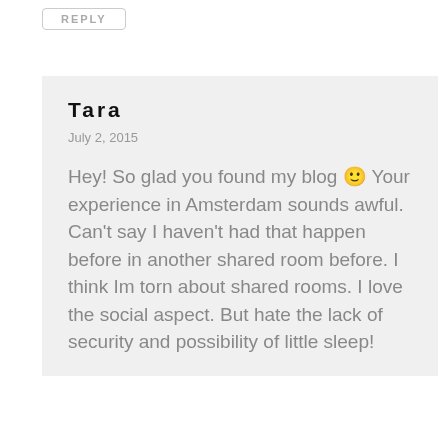REPLY
Tara
July 2, 2015
Hey! So glad you found my blog 🙂 Your experience in Amsterdam sounds awful. Can't say I haven't had that happen before in another shared room before. I think Im torn about shared rooms. I love the social aspect. But hate the lack of security and possibility of little sleep!